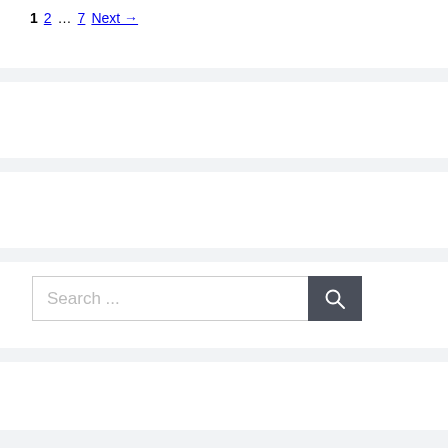1  2  …  7  Next →
[Figure (screenshot): Search input field with placeholder text 'Search ...' and a dark search button with magnifying glass icon]